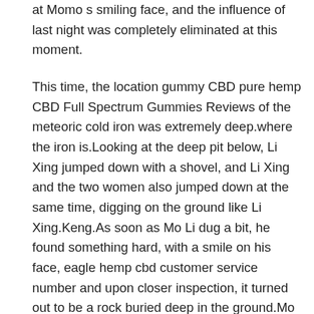at Momo s smiling face, and the influence of last night was completely eliminated at this moment.
This time, the location gummy CBD pure hemp CBD Full Spectrum Gummies Reviews of the meteoric cold iron was extremely deep.where the iron is.Looking at the deep pit below, Li Xing jumped down with a shovel, and Li Xing and the two women also jumped down at the same time, digging on the ground like Li Xing.Keng.As soon as Mo Li dug a bit, he found something hard, with a smile on his face, eagle hemp cbd customer service number and upon closer inspection, it turned out to be a rock buried deep in the ground.Mo Li angrily threw the stone aside, Li Xing smiled, scratched her nose, and said, Don t worry, take your time.Because of the small size of the mine, Li Xing turned around, and Li Xing was almost there.By Li Xing 039 He was hugged in his arms, feeling Li Xing s breath, Li Xing s face turned slightly rosy.Just when Li Xing was about to complain, Han Yunxi also dug up something, but this time CBD Full Spectrum Gummies Reviews it was real cold iron, weighing a full two kilograms, Li Xing touched Han Yunxi s head and praised My Yunxi can It s amazing.